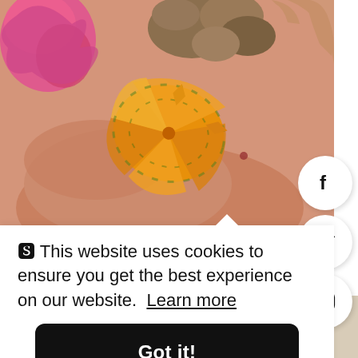[Figure (photo): Person holding colorful gourds and vegetables against bare skin — orange star-shaped squash, pink coral/ruffled fungi, brown roots visible. Hand reaching from upper right.]
🍪 This website uses cookies to ensure you get the best experience on our website. Learn more
Got it!
[Figure (photo): Bottom strip showing dark spiky plant stems/leaves against light background.]